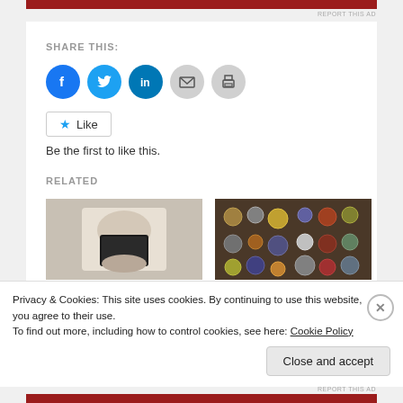SHARE THIS:
[Figure (illustration): Social share buttons: Facebook (blue circle), Twitter (light blue circle), LinkedIn (teal circle), Email (grey circle), Print (grey circle)]
[Figure (illustration): Like button with star icon and text 'Like']
Be the first to like this.
RELATED
[Figure (photo): Person holding a black book/Bible, sitting down, jeans visible]
Disciple Making is
[Figure (photo): Collection of military medals and badges on a table]
Feature Friday
Privacy & Cookies: This site uses cookies. By continuing to use this website, you agree to their use.
To find out more, including how to control cookies, see here: Cookie Policy